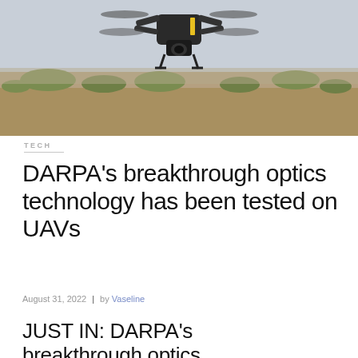[Figure (photo): A quadcopter drone photographed from below against a desert landscape background with scrubby bushes and sandy terrain]
TECH
DARPA's breakthrough optics technology has been tested on UAVs
August 31, 2022  |  by Vaseline
JUST IN: DARPA's breakthrough optics